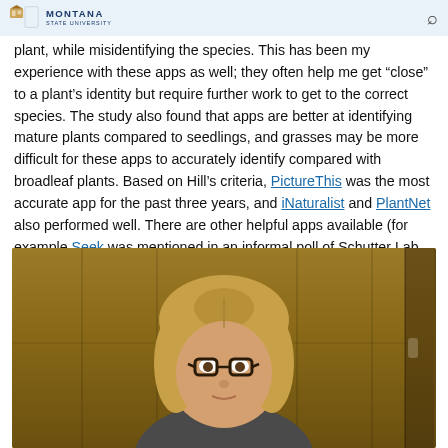Montana State University
plant, while misidentifying the species. This has been my experience with these apps as well; they often help me get “close” to a plant’s identity but require further work to get to the correct species. The study also found that apps are better at identifying mature plants compared to seedlings, and grasses may be more difficult for these apps to accurately identify compared with broadleaf plants. Based on Hill’s criteria, PictureThis was the most accurate app for the past three years, and iNaturalist and PlantNet also performed well. There are other helpful apps available (for example Seek was mentioned in an informal poll of Schutter Lab Facebook users); test different apps on known plants in your area and see which one works best for you.
[Figure (photo): A woman with shoulder-length blonde/light brown hair and dark-rimmed glasses, photographed from above looking downward, standing in front of wooden cabinet doors.]